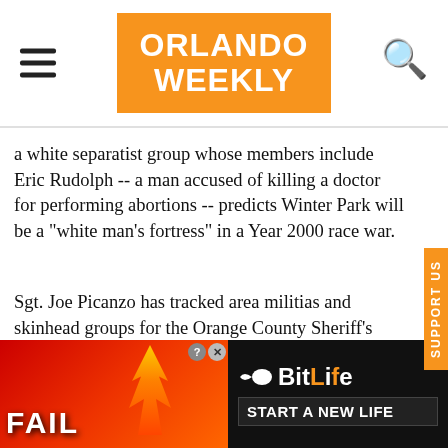Orlando Weekly — navigation header with hamburger menu and search icon
a white separatist group whose members include Eric Rudolph -- a man accused of killing a doctor for performing abortions -- predicts Winter Park will be a "white man's fortress" in a Year 2000 race war.
Sgt. Joe Picanzo has tracked area militias and skinhead groups for the Orange County Sheriff's Office for the past seven years. "Skinheads here are mostly between the ages of 14 and 24," he says. "To avoid prosecution for gang activity under Florida law, they've started calling themselves 'independent white supremacists' when they're recruiting. They've become savvy about counter-
[Figure (advertisement): BitLife mobile game advertisement with FAIL text, cartoon character, flames, and 'START A NEW LIFE' text on dark background]